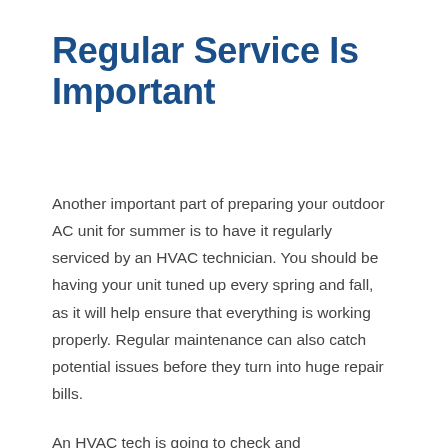Regular Service Is Important
Another important part of preparing your outdoor AC unit for summer is to have it regularly serviced by an HVAC technician. You should be having your unit tuned up every spring and fall, as it will help ensure that everything is working properly. Regular maintenance can also catch potential issues before they turn into huge repair bills.
An HVAC tech is going to check and